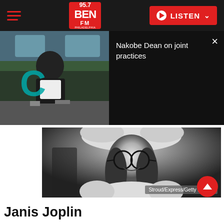95.7 BEN FM PHILADELPHIA | LISTEN
[Figure (screenshot): Video thumbnail of football player (Nakobe Dean) at press conference with Eagles training camp backdrop, overlaid with teal C letter]
Nakobe Dean on joint practices
[Figure (photo): Black and white photograph of Janis Joplin smiling, wearing round glasses and a fur-trimmed hat/coat. Photo credit: Stroud/Express/Getty Images]
Stroud/Express/Getty Images
Janis Joplin